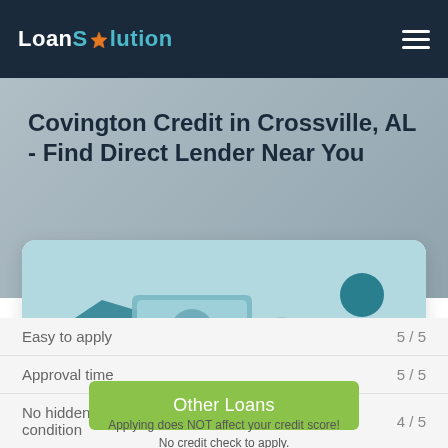LoanSolution
Covington Credit in Crossville, AL - Find Direct Lender Near You
[Figure (illustration): Illustration of a hand passing a stack of money/cash to another person standing, depicted in teal and grey tones]
Easy to apply 5 / 5
Other Loans
Approval time 5 / 5
Applying does NOT affect your credit score! No credit check to apply.
No hidden condition 4 / 5